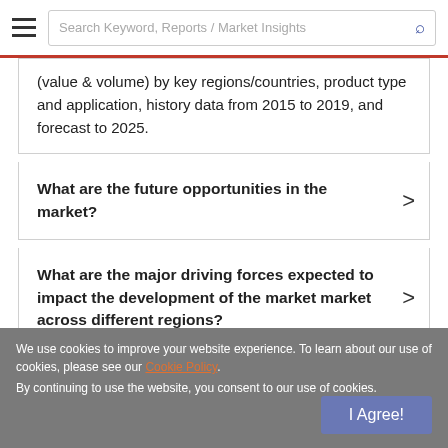Search Keyword, Reports / Market Insights
(value & volume) by key regions/countries, product type and application, history data from 2015 to 2019, and forecast to 2025.
What are the future opportunities in the market?
What are the major driving forces expected to impact the development of the market market across different regions?
Which industry trends are likely to shape the future of the industry during the forecast period 2020-2025?
We use cookies to improve your website experience. To learn about our use of cookies, please see our Cookie Policy. By continuing to use the website, you consent to our use of cookies.